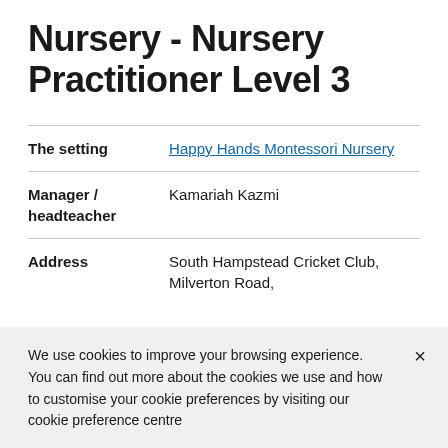Nursery - Nursery Practitioner Level 3
| The setting | Happy Hands Montessori Nursery |
| Manager / headteacher | Kamariah Kazmi |
| Address | South Hampstead Cricket Club, Milverton Road, |
We use cookies to improve your browsing experience. You can find out more about the cookies we use and how to customise your cookie preferences by visiting our cookie preference centre